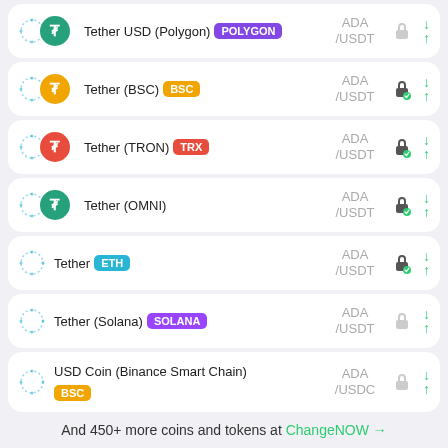Tether USD (Polygon) POLYGON | ADA/USDT
Tether (BSC) BSC | ADA/USDT
Tether (TRON) TRX | ADA/USDT
Tether (OMNI) | ADA/USDT
Tether ETH | ADA/USDT
Tether (Solana) SOLANA | ADA/USDT
USD Coin (Binance Smart Chain) BSC | ADA/USDC
And 450+ more coins and tokens at ChangeNOW →